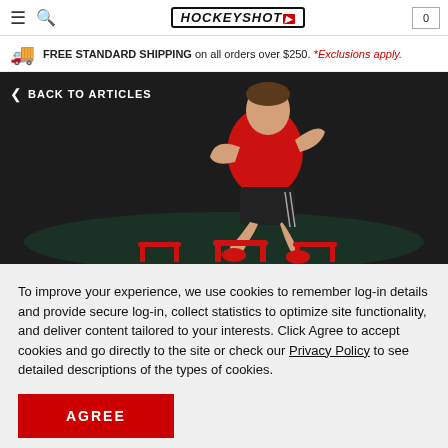HockeyShot — Navigation bar with hamburger menu, search, logo, and cart (0)
FREE STANDARD SHIPPING on all orders over $250. *Exclusions apply.
[Figure (photo): Athlete in red shirt and black shorts jumping over red training hurdles on a dark background]
BACK TO ARTICLES
To improve your experience, we use cookies to remember log-in details and provide secure log-in, collect statistics to optimize site functionality, and deliver content tailored to your interests. Click Agree to accept cookies and go directly to the site or check our Privacy Policy to see detailed descriptions of the types of cookies.
AGREE